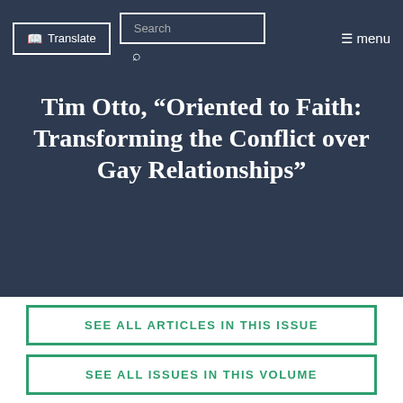Translate | Search | menu
Tim Otto, “Oriented to Faith: Transforming the Conflict over Gay Relationships”
SEE ALL ARTICLES IN THIS ISSUE
SEE ALL ISSUES IN THIS VOLUME